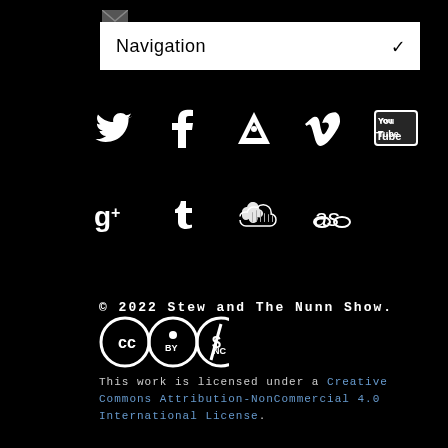[Figure (screenshot): Navigation dropdown bar with white background showing 'Navigation' text and a chevron arrow on the right. Small email envelope icon above top-left of the bar.]
[Figure (other): Row of social media icons on black background: Twitter bird, Facebook f, Antenna/app icon, Vimeo V, YouTube logo]
[Figure (other): Row of social media icons on black background: Google+, Tumblr t, SoundCloud waves, Last.fm 'as' logo]
© 2022 Stew and The Nunn Show.
[Figure (logo): Creative Commons BY-NC license badge]
This work is licensed under a Creative Commons Attribution-NonCommercial 4.0 International License.